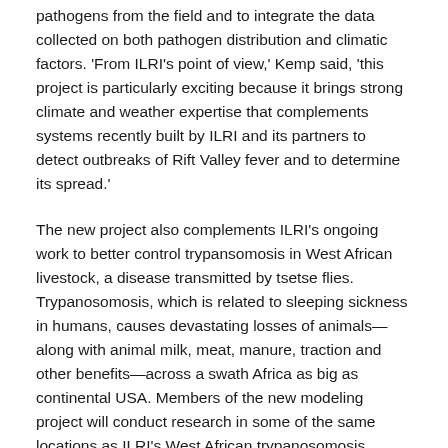pathogens from the field and to integrate the data collected on both pathogen distribution and climatic factors. 'From ILRI's point of view,' Kemp said, 'this project is particularly exciting because it brings strong climate and weather expertise that complements systems recently built by ILRI and its partners to detect outbreaks of Rift Valley fever and to determine its spread.'
The new project also complements ILRI's ongoing work to better control trypansomosis in West African livestock, a disease transmitted by tsetse flies. Trypanosomosis, which is related to sleeping sickness in humans, causes devastating losses of animals—along with animal milk, meat, manure, traction and other benefits—across a swath Africa as big as continental USA. Members of the new modeling project will conduct research in some of the same locations as ILRI's West African trypanosomosis project, Kemp explained, and work with some of the same partner organizations, which should generate synergies that benefit both projects.
The role of this project is to be stated below...